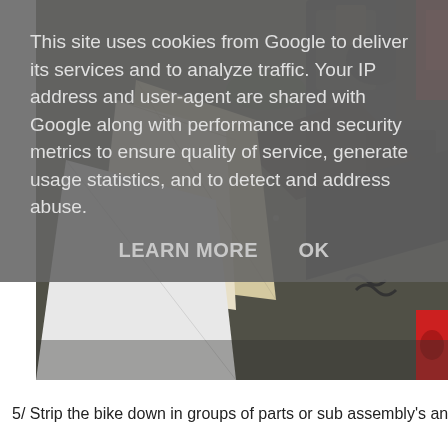This site uses cookies from Google to deliver its services and to analyze traffic. Your IP address and user-agent are shared with Google along with performance and security metrics to ensure quality of service, generate usage statistics, and to detect and address abuse.
LEARN MORE    OK
[Figure (photo): Photo of motorcycle parts and debris on gravel ground, including what appears to be an engine, metal frame parts, and some paper/cardboard. A red object is visible at the bottom right.]
5/ Strip the bike down in groups of parts or sub assembly's and